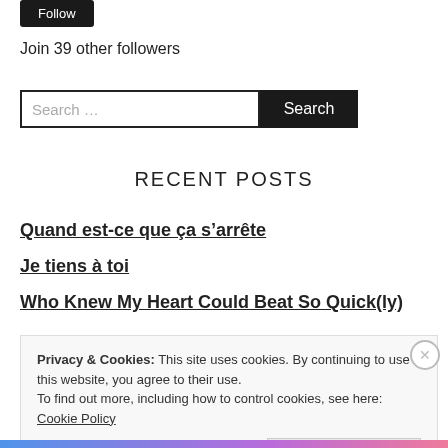[Figure (other): Dark rounded Follow button at top left]
Join 39 other followers
[Figure (other): Search input field with placeholder 'Search ...' and a black Search button]
RECENT POSTS
Quand est-ce que ça s'arrête
Je tiens à toi
Who Knew My Heart Could Beat So Quick(ly)
Privacy & Cookies: This site uses cookies. By continuing to use this website, you agree to their use.
To find out more, including how to control cookies, see here: Cookie Policy
Close and accept